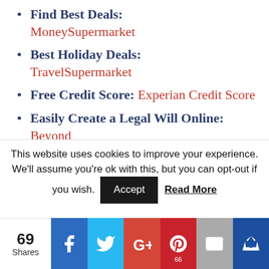Find Best Deals: MoneySupermarket
Best Holiday Deals: TravelSupermarket
Free Credit Score: Experian Credit Score
Easily Create a Legal Will Online: Beyond
Spend and Earn Money: Quidco
This website uses cookies to improve your experience. We'll assume you're ok with this, but you can opt-out if you wish. Accept Read More
69 Shares | Facebook | Twitter | Google+ | Pinterest 66 | Email | Crown